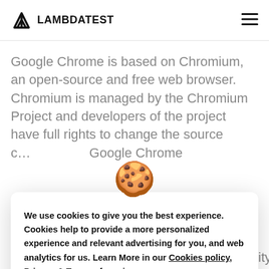LAMBDATEST
Google Chrome is based on Chromium, an open-source and free web browser. Chromium is managed by the Chromium Project and developers of the project have full rights to change the source c... Google Chrome
[Figure (illustration): Cookie emoji icon - a round brown cookie with chocolate chips]
We use cookies to give you the best experience. Cookies help to provide a more personalized experience and relevant advertising for you, and web analytics for us. Learn More in our Cookies policy, Privacy & Terms of service
globally by mitigating  browser compatibility